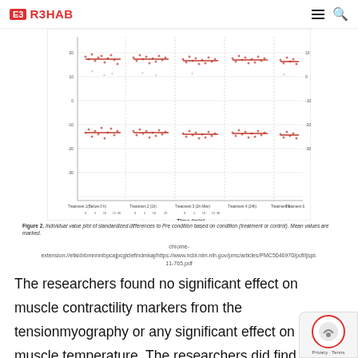E3 R3HAB
[Figure (continuous-plot): Individual value plot of standardized differences to Pre condition based on condition (treatment or control). Mean values are marked. Y-axis: Measure (Combined, Hip & Quad; Dm = mm; Tc & Td = degrees). X-axis: Time (min). Multiple treatment groups shown across time points 0-30 minutes.]
Figure 2. Individual value plot of standardized differences to Pre condition based on condition (treatment or control). Mean values are marked.
chrome-extension://efaidnbmnnnibpcajpcglclefindmkaj/https://www.ncbi.nlm.nih.gov/pmc/articles/PMC5046970/pdf/ijspt-11-765.pdf
The researchers found no significant effect on muscle contractility markers from the tensionmyography or any significant effect on muscle temperature. The researchers did find that there was a change in range of motion for the knee for greater degrees of knee flexion. However, the change in range of motion